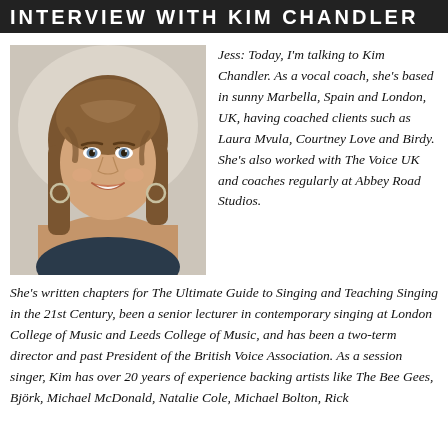INTERVIEW WITH KIM CHANDLER
[Figure (photo): Portrait photo of Kim Chandler, a smiling woman with medium-length brown hair, wearing hoop earrings and a dark top, against a light background.]
Jess: Today, I'm talking to Kim Chandler. As a vocal coach, she's based in sunny Marbella, Spain and London, UK, having coached clients such as Laura Mvula, Courtney Love and Birdy. She's also worked with The Voice UK and coaches regularly at Abbey Road Studios.
She's written chapters for The Ultimate Guide to Singing and Teaching Singing in the 21st Century, been a senior lecturer in contemporary singing at London College of Music and Leeds College of Music, and has been a two-term director and past President of the British Voice Association. As a session singer, Kim has over 20 years of experience backing artists like The Bee Gees, Björk, Michael McDonald, Natalie Cole, Michael Bolton, Rick